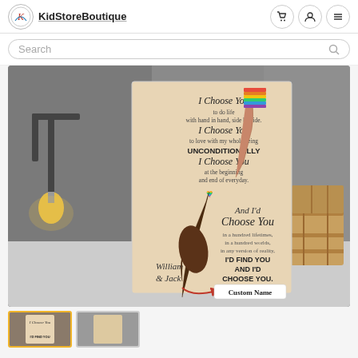KidStoreBoutique
Search
[Figure (photo): Product photo of a personalized canvas print featuring two hands reaching toward each other with a rainbow heart, with text 'I Choose You' and 'And I'd Choose You in a hundred lifetimes, in a hundred worlds, in any version of reality, I'd Find You And I'd Choose You.' Names 'William & Jack' shown with a 'Custom Name' callout arrow. Background shows industrial loft setting with Edison bulb lamp and wooden crates.]
[Figure (photo): Thumbnail of the same product canvas print, shown with yellow border indicating selection.]
[Figure (photo): Second product thumbnail image.]